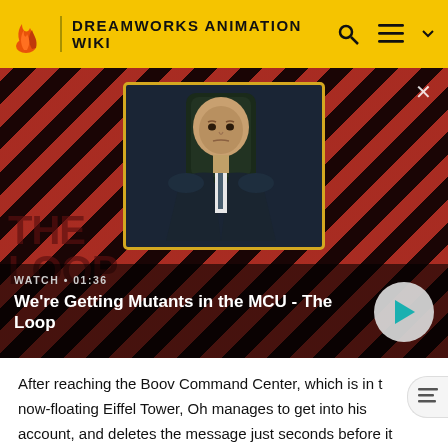DREAMWORKS ANIMATION WIKI
[Figure (screenshot): Video thumbnail showing a bald man in a suit seated in a chair, with red and black diagonal stripe background. Text overlay: WATCH • 01:36, We're Getting Mutants in the MCU - The Loop]
After reaching the Boov Command Center, which is in the now-floating Eiffel Tower, Oh manages to get into his account, and deletes the message just seconds before it reaches the Gorg. He then plugs in Tip's brain to help her find Lucy. They eventually trace her location to Australia